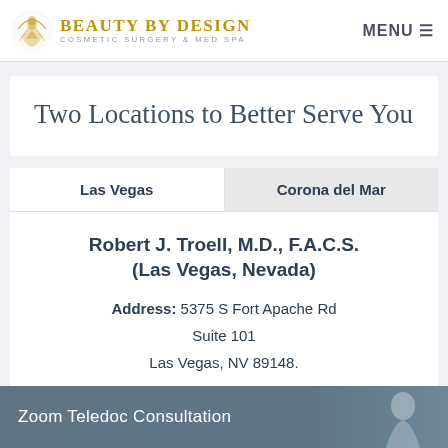Beauty by Design Cosmetic Surgery & Med Spa — MENU
Two Locations to Better Serve You
Las Vegas | Corona del Mar
Robert J. Troell, M.D., F.A.C.S. (Las Vegas, Nevada)
Address: 5375 S Fort Apache Rd Suite 101 Las Vegas, NV 89148.
Phone: (702) 242-6488
Zoom Teledoc Consultation